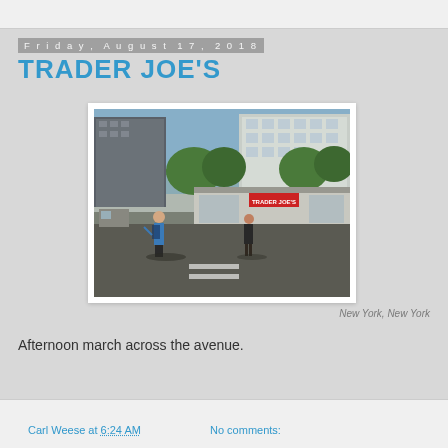Friday, August 17, 2018
TRADER JOE'S
[Figure (photo): Street scene in New York City showing two pedestrians crossing a wide avenue. A woman with a blue top and backpack walks from the left, a person in dark clothing stands further right. In the background are tall residential buildings, trees, and a Trader Joe's storefront.]
New York, New York
Afternoon march across the avenue.
Carl Weese at 6:24 AM    No comments: